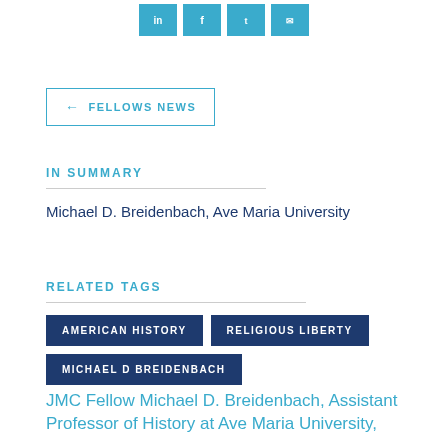[Figure (other): Four social media share icons (LinkedIn, Facebook, Twitter, Email) in teal/cyan colored square buttons]
← FELLOWS NEWS
IN SUMMARY
Michael D. Breidenbach, Ave Maria University
RELATED TAGS
AMERICAN HISTORY
RELIGIOUS LIBERTY
MICHAEL D BREIDENBACH
JMC Fellow Michael D. Breidenbach, Assistant Professor of History at Ave Maria University,